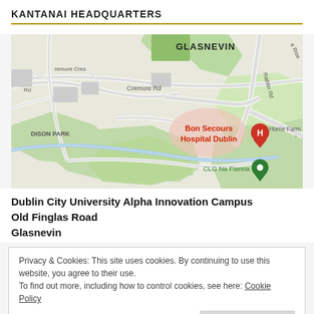KANTANAI HEADQUARTERS
[Figure (map): Google Maps screenshot showing the area around Glasnevin, Dublin, including Bon Secours Hospital Dublin (red marker), CLG Na Fianna (green marker), Cremore Road, Cremore Cres, Rathlin Rd, Home Farm road, and green park areas.]
Dublin City University Alpha Innovation Campus
Old Finglas Road
Glasnevin
Privacy & Cookies: This site uses cookies. By continuing to use this website, you agree to their use.
To find out more, including how to control cookies, see here: Cookie Policy
Close and accept